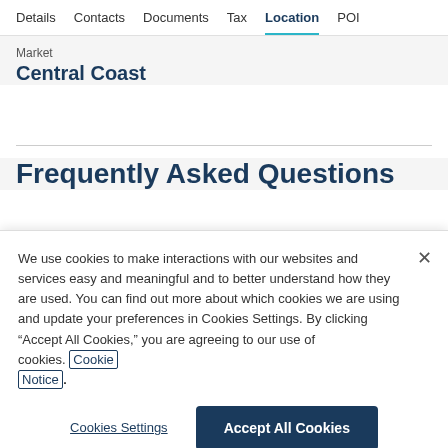Details  Contacts  Documents  Tax  Location  POI
Market
Central Coast
Frequently Asked Questions
We use cookies to make interactions with our websites and services easy and meaningful and to better understand how they are used. You can find out more about which cookies we are using and update your preferences in Cookies Settings. By clicking "Accept All Cookies," you are agreeing to our use of cookies. Cookie Notice
Cookies Settings
Accept All Cookies